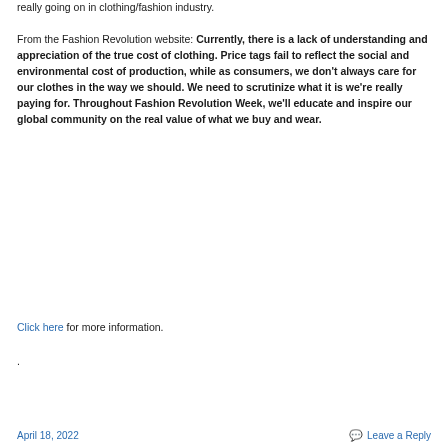really going on in clothing/fashion industry.
From the Fashion Revolution website: Currently, there is a lack of understanding and appreciation of the true cost of clothing. Price tags fail to reflect the social and environmental cost of production, while as consumers, we don't always care for our clothes in the way we should. We need to scrutinize what it is we're really paying for. Throughout Fashion Revolution Week, we'll educate and inspire our global community on the real value of what we buy and wear.
Click here for more information.
.
April 18, 2022   Leave a Reply